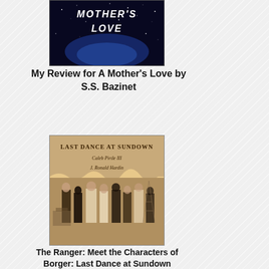[Figure (photo): Book cover for 'A Mother's Love' — dark space/starry background with title text]
My Review for A Mother's Love by S.S. Bazinet
[Figure (photo): Book cover for 'Last Dance at Sundown' by Caleb Pirtle III and J. Ronald Hardin — sepia-toned cover with old photo of men standing in front of buildings, oil derrick in background]
The Ranger: Meet the Characters of Borger: Last Dance at Sundown
[Figure (photo): Partial book cover showing 'BLUFF' with green banner reading 'THE UNDERGROUND AUTHORS PRESS']